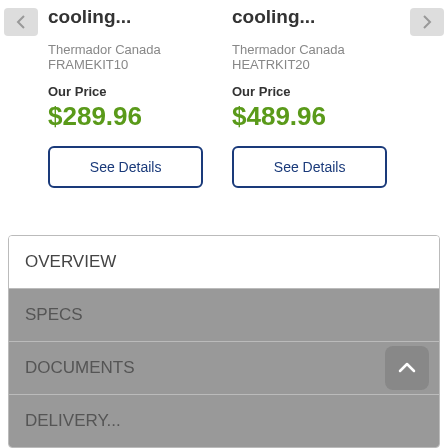cooling...
Thermador Canada
FRAMEKIT10
Our Price
$289.96
See Details
cooling...
Thermador Canada
HEATRKIT20
Our Price
$489.96
See Details
OVERVIEW
SPECS
DOCUMENTS
DELIVERY...